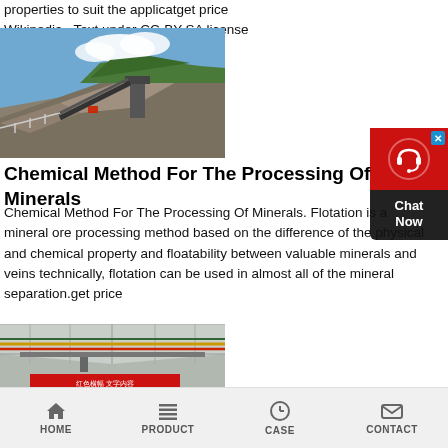more often in a form that requires further working to achieve the given properties to suit the applicatget price
Wikipedia · Text under CC-BY-SA license
[Figure (photo): Outdoor quarry or mining site with rocky cliff face, industrial equipment and conveyors against a blue sky with clouds]
[Figure (other): Chat Now widget with red background, headset icon, and dark bottom panel with Chat Now text, and blue X close button]
Chemical Method For The Processing Of Minerals
Chemical Method For The Processing Of Minerals. Flotation is a mineral ore processing method based on the difference of the physical and chemical property and floatability between valuable minerals and veins technically, flotation can be used in almost all of the mineral separation.get price
[Figure (photo): Interior of an industrial facility with overhead cranes, cables and a red banner sign]
HOME   PRODUCT   CASE   CONTACT